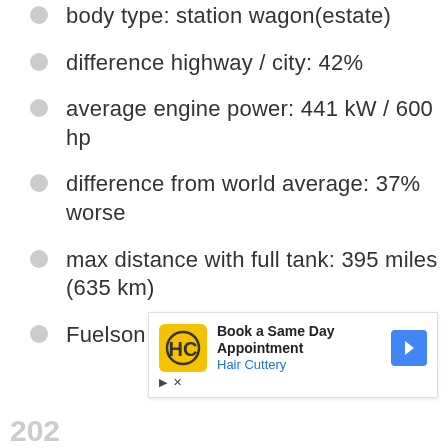body type: station wagon(estate)
difference highway / city: 42%
average engine power: 441 kW / 600 hp
difference from world average: 37% worse
max distance with full tank: 395 miles (635 km)
Fuelson rating: 6 / 10
[Figure (other): Advertisement banner for Hair Cuttery: Book a Same Day Appointment, with yellow HC logo and blue navigation arrow icon]